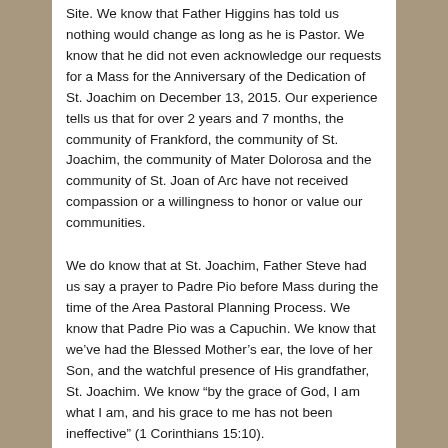Site. We know that Father Higgins has told us nothing would change as long as he is Pastor. We know that he did not even acknowledge our requests for a Mass for the Anniversary of the Dedication of St. Joachim on December 13, 2015. Our experience tells us that for over 2 years and 7 months, the community of Frankford, the community of St. Joachim, the community of Mater Dolorosa and the community of St. Joan of Arc have not received  compassion or a willingness to honor or value our communities.
We do know that at St. Joachim, Father Steve had us say a prayer to Padre Pio before Mass during the time of the Area Pastoral Planning Process. We know that Padre Pio was a Capuchin. We know that we've had the Blessed Mother's ear, the love of her Son, and the watchful presence of His grandfather, St. Joachim. We know "by the grace of God, I am what I am, and his grace to me has not been ineffective" (1 Corinthians 15:10).
We know that we are steadfast in our hope and belief in the need for a Catholic Church in Frankford. We know we are Koop(ing) the Faith in Frankford and beyond.